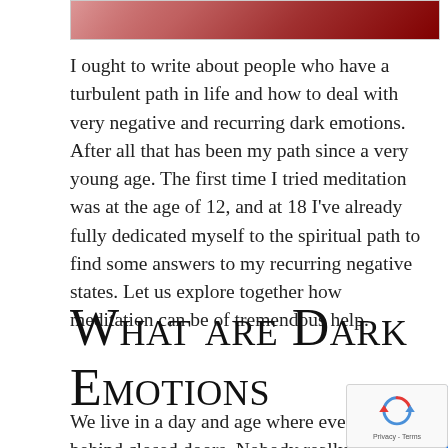[Figure (photo): Partial view of a header image with red/dark gradient tones, cropped at top]
I ought to write about people who have a turbulent path in life and how to deal with very negative and recurring dark emotions. After all that has been my path since a very young age. The first time I tried meditation was at the age of 12, and at 18 I've already fully dedicated myself to the spiritual path to find some answers to my recurring negative states. Let us explore together how meditation can be of tremendous help.
What are Dark Emotions
We live in a day and age where everyone suffers sil behind closed doors. Nobody really wants to show how